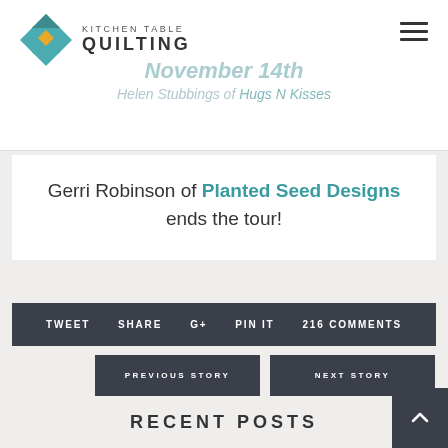Kitchen Table Quilting
November 14th
Helen Stubbings of Hugs N Kisses
Gerri Robinson of Planted Seed Designs ends the tour!
TWEET  SHARE  G+  PIN IT  216 COMMENTS
PREVIOUS STORY
NEXT STORY
RECENT POSTS